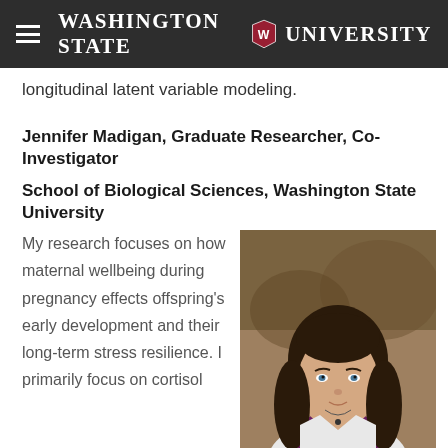Washington State University
longitudinal latent variable modeling.
Jennifer Madigan, Graduate Researcher, Co-Investigator
School of Biological Sciences, Washington State University
[Figure (photo): Portrait photo of Jennifer Madigan, a woman with long dark hair wearing a white lab coat and dark top, photographed outdoors]
My research focuses on how maternal wellbeing during pregnancy effects offspring's early development and their long-term stress resilience. I primarily focus on cortisol